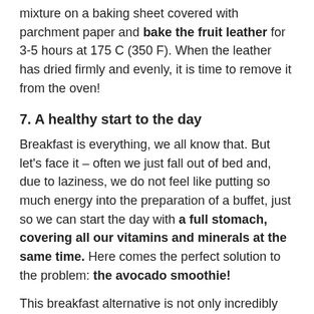mixture on a baking sheet covered with parchment paper and bake the fruit leather for 3-5 hours at 175 C (350 F). When the leather has dried firmly and evenly, it is time to remove it from the oven!
7. A healthy start to the day
Breakfast is everything, we all know that. But let's face it – often we just fall out of bed and, due to laziness, we do not feel like putting so much energy into the preparation of a buffet, just so we can start the day with a full stomach, covering all our vitamins and minerals at the same time. Here comes the perfect solution to the problem: the avocado smoothie!
This breakfast alternative is not only incredibly creamy and tasty but also offers a lot of flexibility without much effort. In addition, the fiber and fat of the avocado help your body absorb nutrients and prevent a sugar crash.